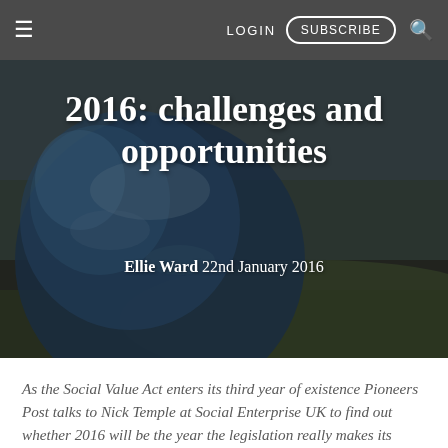≡   LOGIN   SUBSCRIBE   🔍
2016: challenges and opportunities
Ellie Ward 22nd January 2016
[Figure (photo): Globe being held in hands, with green field and sky in background, dark overlay]
As the Social Value Act enters its third year of existence Pioneers Post talks to Nick Temple at Social Enterprise UK to find out whether 2016 will be the year the legislation really makes its mark on public service commissioning.